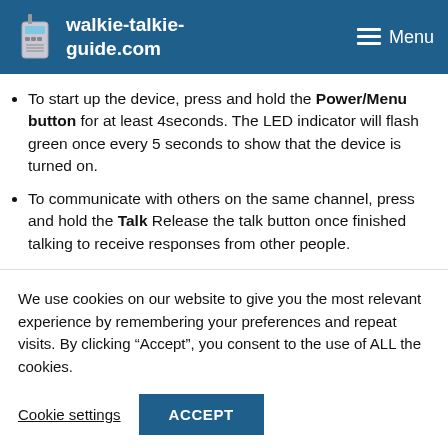walkie-talkie-guide.com  Menu
To start up the device, press and hold the Power/Menu button for at least 4seconds. The LED indicator will flash green once every 5 seconds to show that the device is turned on.
To communicate with others on the same channel, press and hold the Talk Release the talk button once finished talking to receive responses from other people.
We use cookies on our website to give you the most relevant experience by remembering your preferences and repeat visits. By clicking “Accept”, you consent to the use of ALL the cookies.